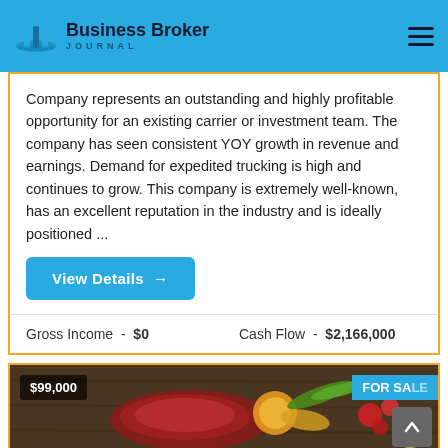Business Broker JOURNAL
Company represents an outstanding and highly profitable opportunity for an existing carrier or investment team. The company has seen consistent YOY growth in revenue and earnings. Demand for expedited trucking is high and continues to grow. This company is extremely well-known, has an excellent reputation in the industry and is ideally positioned ...
View Details →
Gross Income  -  $0     Cash Flow  -  $2,166,000
[Figure (photo): Food image showing meat cuts, vegetables, cheese, and produce on a dark wooden surface. Price badge $99,000 and FOR SALE label visible.]